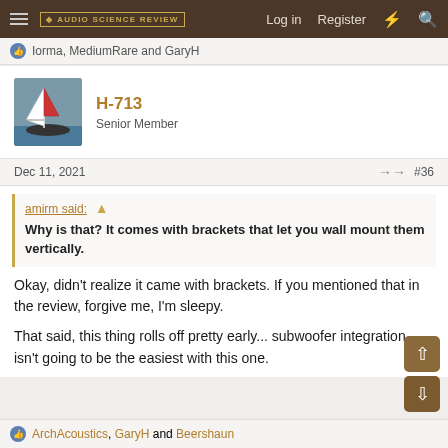Audio Science Review — Log in  Register
Iorma, MediumRare and GaryH
H-713
Senior Member
Dec 11, 2021  #36
amirm said: ↑
Why is that? It comes with brackets that let you wall mount them vertically.
Okay, didn't realize it came with brackets. If you mentioned that in the review, forgive me, I'm sleepy.
That said, this thing rolls off pretty early... subwoofer integration isn't going to be the easiest with this one.
ArchAcoustics, GaryH and Beershaun